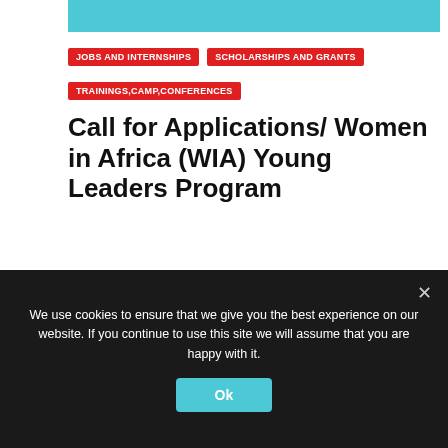[Figure (other): Teal/cyan banner image at the top of the article page]
JOBS AND INTERNSHIPS
SCHOLARSHIPS AND GRANTS
TRAININGS,CAMP,CONFERENCES
Call for Applications/ Women in Africa (WIA) Young Leaders Program
MAR 17, 2021
The Young Leaders Programme is a catalyst for training young women leaders at the beginning of their careers. In 2021
We use cookies to ensure that we give you the best experience on our website. If you continue to use this site we will assume that you are happy with it.